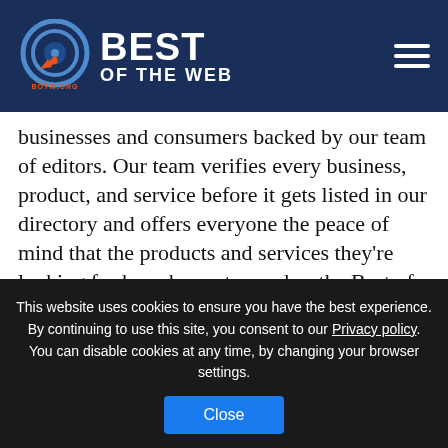[Figure (logo): Best of the Web (BOTW.org) logo with circular target icon and white text on dark navy background, hamburger menu icon on the right]
businesses and consumers backed by our team of editors. Our team verifies every business, product, and service before it gets listed in our directory and offers everyone the peace of mind that the products and services they're looking for have been stamped as the Best of the Web.
Regions
United States    United Kingdom
This website uses cookies to ensure you have the best experience. By continuing to use this site, you consent to our Privacy policy. You can disable cookies at any time, by changing your browser settings.